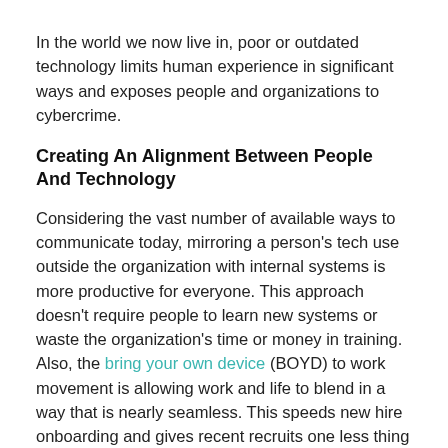In the world we now live in, poor or outdated technology limits human experience in significant ways and exposes people and organizations to cybercrime.
Creating An Alignment Between People And Technology
Considering the vast number of available ways to communicate today, mirroring a person's tech use outside the organization with internal systems is more productive for everyone. This approach doesn't require people to learn new systems or waste the organization's time or money in training. Also, the bring your own device (BOYD) to work movement is allowing work and life to blend in a way that is nearly seamless. This speeds new hire onboarding and gives recent recruits one less thing to worry about.
Though many corporations resist allowing people to toggle between work and personal social platforms, this type of cerebral shift can relieve workday stress, create a deeper connection to the work environment and even improve